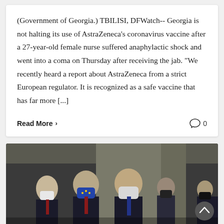(Government of Georgia.) TBILISI, DFWatch-- Georgia is not halting its use of AstraZeneca's coronavirus vaccine after a 27-year-old female nurse suffered anaphylactic shock and went into a coma on Thursday after receiving the jab. "We recently heard a report about AstraZeneca from a strict European regulator. It is recognized as a safe vaccine that has far more [...]
Read More > 0
[Figure (photo): Group of officials wearing face masks walking in a corridor. They are wearing dark suits and masks of various colors including blue, white, and black. A green exit sign is visible in the background.]